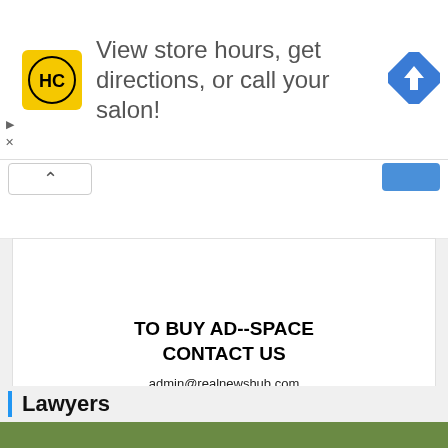[Figure (infographic): Advertisement banner: HC logo (yellow square with black HC text), text 'View store hours, get directions, or call your salon!', blue diamond navigation icon. Small play and X icons on left edge.]
[Figure (screenshot): Collapse/scroll bar with caret-up button on left and blue button on right]
[Figure (infographic): White ad space box with bold text: 'TO BUY AD--SPACE CONTACT US admin@realnewshub.com FOR ADSPACE 272X90']
[Figure (screenshot): White bar with salmon/red back-to-top button (caret up) on right side]
Lawyers
[Figure (photo): Bottom edge of a green/nature photo, partially visible]